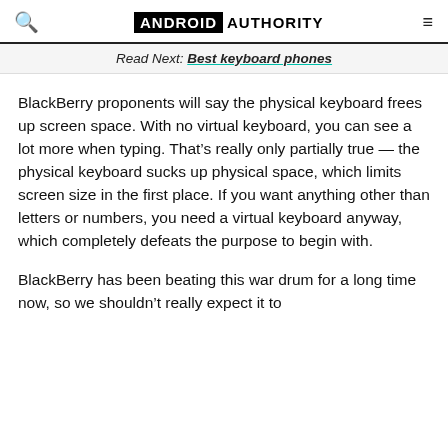ANDROID AUTHORITY
Read Next: Best keyboard phones
BlackBerry proponents will say the physical keyboard frees up screen space. With no virtual keyboard, you can see a lot more when typing. That’s really only partially true — the physical keyboard sucks up physical space, which limits screen size in the first place. If you want anything other than letters or numbers, you need a virtual keyboard anyway, which completely defeats the purpose to begin with.
BlackBerry has been beating this war drum for a long time now, so we shouldn’t really expect it to